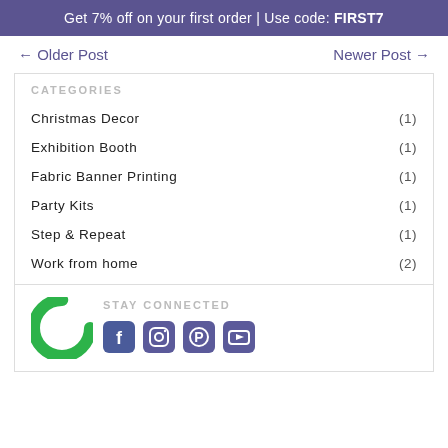Get 7% off on your first order | Use code: FIRST7
← Older Post   Newer Post →
CATEGORIES
Christmas Decor (1)
Exhibition Booth (1)
Fabric Banner Printing (1)
Party Kits (1)
Step & Repeat (1)
Work from home (2)
STAY CONNECTED
[Figure (logo): Green C-shaped logo]
[Figure (infographic): Social media icons: Facebook, Instagram, Pinterest, YouTube]